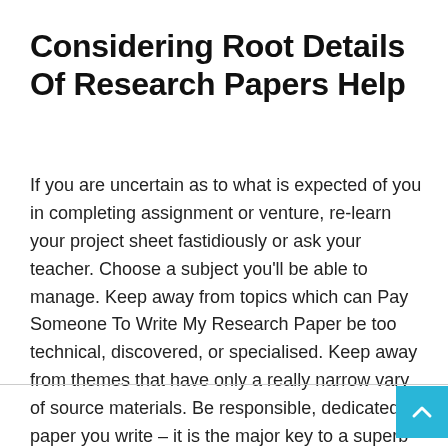Considering Root Details Of Research Papers Help
If you are uncertain as to what is expected of you in completing assignment or venture, re-learn your project sheet fastidiously or ask your teacher. Choose a subject you'll be able to manage. Keep away from topics which can Pay Someone To Write My Research Paper be too technical, discovered, or specialised. Keep away from themes that have only a really narrow vary of source materials. Be responsible, dedicated to paper you write – it is the major key to a superb grade.